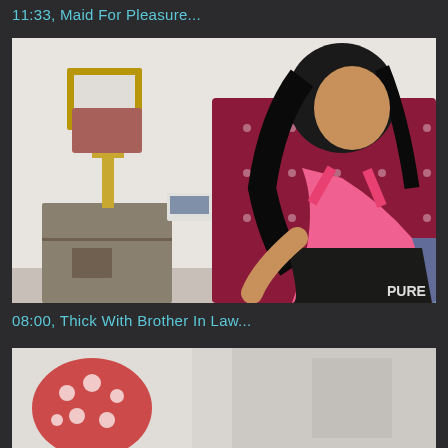11:33, Maid For Pleasure...
[Figure (photo): Woman with long dark hair wearing a pink top, sitting on a bed with a maroon tufted headboard. A nightstand with lamp is visible on the left. PURE watermark in bottom right corner.]
08:00, Thick With Brother In Law...
[Figure (photo): Partial view of bottom video thumbnail, partially visible.]